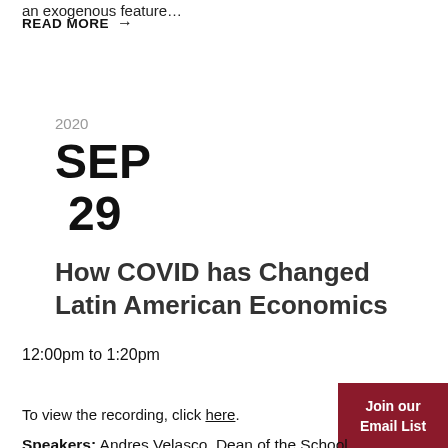an exogenous feature…
READ MORE →
2020
SEP
29
How COVID has Changed Latin American Economics
12:00pm to 1:20pm
Join our Email List
To view the recording, click here.
Speakers: Andres Velasco, Dean of the School